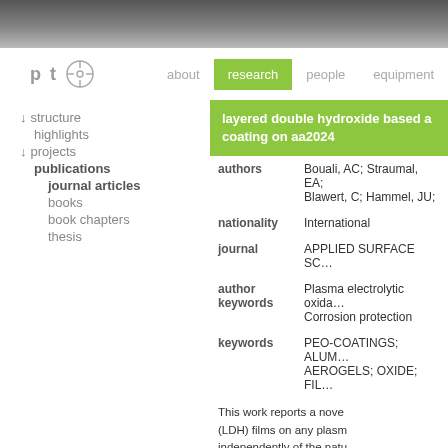[Figure (photo): Top banner with dark gradient photo]
pt  [icon]  about  research  people  equipment
↓ structure
highlights
↓ projects
publications
journal articles
books
book chapters
thesis
layered double hydroxide based a coating on aa2024
| field | value |
| --- | --- |
| authors | Bouali, AC; Straumal, EA; Blawert, C; Hammel, JU; |
| nationality | International |
| journal | APPLIED SURFACE SC… |
| author keywords | Plasma electrolytic oxida… Corrosion protection |
| keywords | PEO-COATINGS; ALUM… AEROGELS; OXIDE; FIL… |
This work reports a nove (LDH) films on any plasm independently of the natu chosen to carry out this w